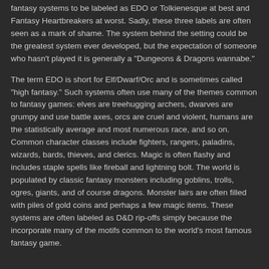fantasy systems to be labeled as EDO or Tolkienesque at best and Fantasy Heartbreakers at worst. Sadly, these three labels are often seen as a mark of shame. The system behind the setting could be the greatest system ever developed, but the expectation of someone who hasn't played it is generally a "Dungeons & Dragons wannabe."
The term EDO is short for Elf/Dwarf/Orc and is sometimes called "high fantasy." Such systems often use many of the themes common to fantasy games: elves are treehugging archers, dwarves are grumpy and use battle axes, orcs are cruel and violent, humans are the statistically average and most numerous race, and so on. Common character classes include fighters, rangers, paladins, wizards, bards, thieves, and clerics. Magic is often flashy and includes staple spells like fireball and lightning bolt. The world is populated by classic fantasy monsters including goblins, trolls, ogres, giants, and of course dragons. Monster lairs are often filled with piles of gold coins and perhaps a few magic items. These systems are often labeled as D&D rip-offs simply because the incorporate many of the motifs common to the world's most famous fantasy game.